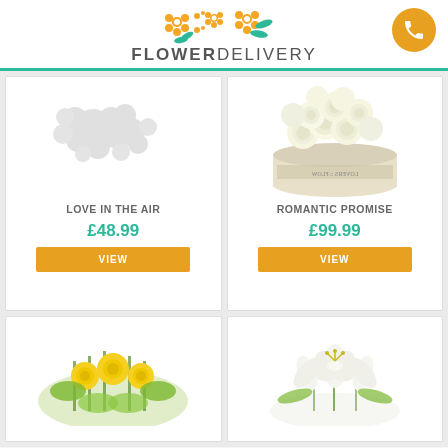[Figure (logo): Flower Delivery logo with orange and green flower icons and phone button]
[Figure (photo): Greyed out flower placeholder image for Love In The Air product]
LOVE IN THE AIR
£48.99
VIEW
[Figure (photo): White roses in a cream cylindrical box labeled Romantic Promise]
ROMANTIC PROMISE
£99.99
VIEW
[Figure (photo): Yellow and green flower arrangement partially visible]
[Figure (photo): White lily flower arrangement partially visible]